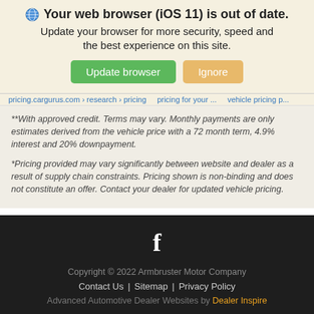[Figure (screenshot): Browser update notification banner with globe icon, bold title 'Your web browser (iOS 11) is out of date.', subtitle text, and two buttons: 'Update browser' (green) and 'Ignore' (orange/tan)]
**With approved credit. Terms may vary. Monthly payments are only estimates derived from the vehicle price with a 72 month term, 4.9% interest and 20% downpayment.
*Pricing provided may vary significantly between website and dealer as a result of supply chain constraints. Pricing shown is non-binding and does not constitute an offer. Contact your dealer for updated vehicle pricing.
Copyright © 2022 Armbruster Motor Company | Contact Us | Sitemap | Privacy Policy | Advanced Automotive Dealer Websites by Dealer Inspire